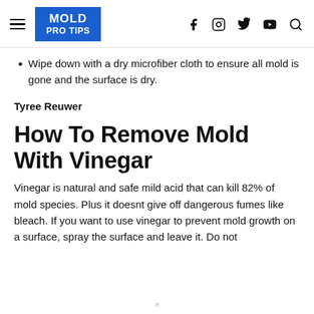MOLD PRO TIPS
Wipe down with a dry microfiber cloth to ensure all mold is gone and the surface is dry.
Tyree Reuwer
How To Remove Mold With Vinegar
Vinegar is natural and safe mild acid that can kill 82% of mold species. Plus it doesnt give off dangerous fumes like bleach. If you want to use vinegar to prevent mold growth on a surface, spray the surface and leave it. Do not...